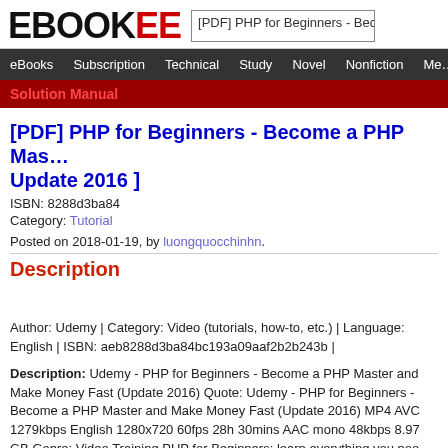EBOOKEE — [PDF] PHP for Beginners - Beco…
eBooks | Subscription | Technical | Study | Novel | Nonfiction | Me…
Solution Manual
[PDF] PHP for Beginners - Become a PHP Master - Update 2016 ]
ISBN: 8288d3ba84
Category: Tutorial
Posted on 2018-01-19, by luongquocchinhn.
Description
Author: Udemy | Category: Video (tutorials, how-to, etc.) | Language: English | ISBN: aeb8288d3ba84bc193a09aaf2b2b243b |
Description: Udemy - PHP for Beginners - Become a PHP Master and Make Money Fast (Update 2016) Quote: Udemy - PHP for Beginners - Become a PHP Master and Make Money Fast (Update 2016) MP4 AVC 1279kbps English 1280x720 60fps 28h 30mins AAC mono 48kbps 8.97 GB Genre: Video Training PHP for Beginners; learn everything you noo…